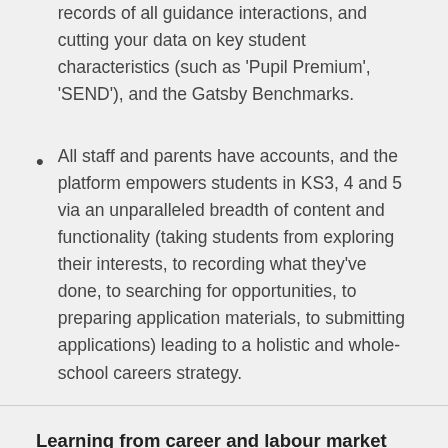records of all guidance interactions, and cutting your data on key student characteristics (such as 'Pupil Premium', 'SEND'), and the Gatsby Benchmarks.
All staff and parents have accounts, and the platform empowers students in KS3, 4 and 5 via an unparalleled breadth of content and functionality (taking students from exploring their interests, to recording what they've done, to searching for opportunities, to preparing application materials, to submitting applications) leading to a holistic and whole-school careers strategy.
Learning from career and labour market information